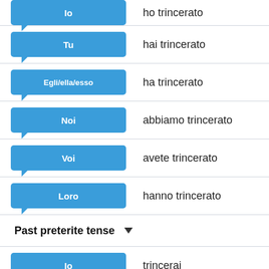Io — ho trincerato
Tu — hai trincerato
Egli/ella/esso — ha trincerato
Noi — abbiamo trincerato
Voi — avete trincerato
Loro — hanno trincerato
Past preterite tense
Io — trincerai
Tu — trincerasti
Egli/ella/esso — trincerò